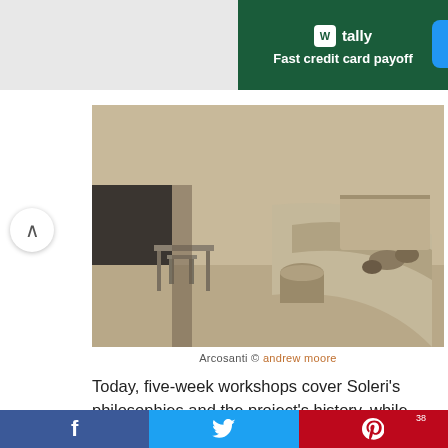[Figure (other): Advertisement banner for Tally app: 'Fast credit card payoff' on dark green background]
[Figure (photo): Arcosanti architectural space with concrete curved walls, benches, and open-air outdoor area in desert setting]
Arcosanti © andrew moore
Today, five-week workshops cover Soleri's philosophies and the project's history, while residents continue to help build the ever-evolving city. Workshoppers can then apply to stay on as employees or volunteers. It's currently populated by 50 – 100 people throughout the year.